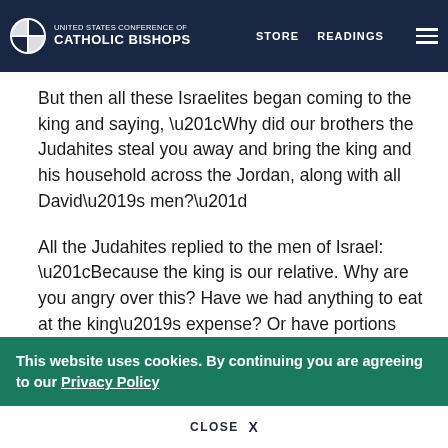United States Conference of Catholic Bishops | STORE  READINGS
But then all these Israelites began coming to the king and saying, “Why did our brothers the Judahites steal you away and bring the king and his household across the Jordan, along with all David’s men?”
All the Judahites replied to the men of Israel: “Because the king is our relative. Why are you angry over this? Have we had anything to eat at the king’s expense? Or have portions from his table been
This website uses cookies. By continuing you are agreeing to our Privacy Policy
CLOSE  X